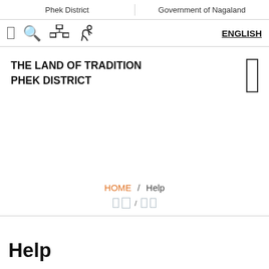Phek District | Government of Nagaland
THE LAND OF TRADITION
PHEK DISTRICT
HOME / Help
Help